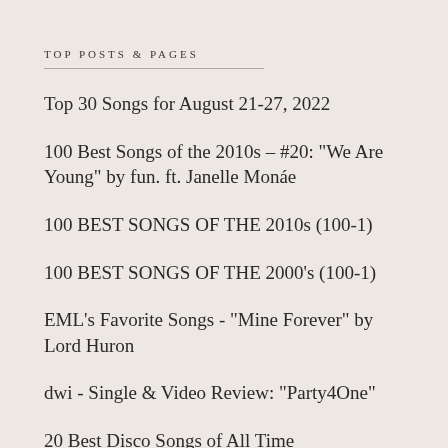TOP POSTS & PAGES
Top 30 Songs for August 21-27, 2022
100 Best Songs of the 2010s – #20: "We Are Young" by fun. ft. Janelle Monáe
100 BEST SONGS OF THE 2010s (100-1)
100 BEST SONGS OF THE 2000's (100-1)
EML's Favorite Songs - "Mine Forever" by Lord Huron
dwi - Single & Video Review: "Party4One"
20 Best Disco Songs of All Time